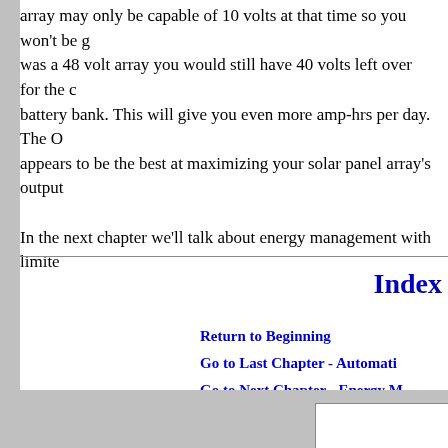array may only be capable of 10 volts at that time so you won't be g was a 48 volt array you would still have 40 volts left over for the c battery bank. This will give you even more amp-hrs per day. The O appears to be the best at maximizing your solar panel array's output
In the next chapter we'll talk about energy management with limite
Index
Return to Beginning
Go to Last Chapter - Automati
Go to Next Chapter - Energy M